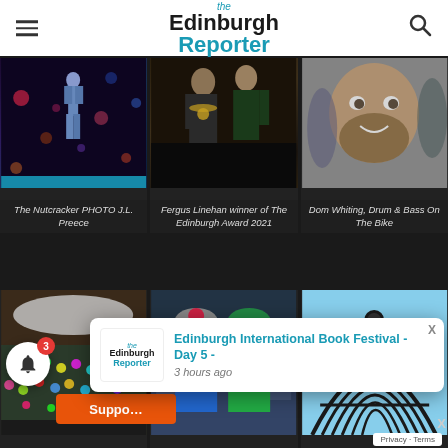the Edinburgh Reporter
[Figure (photo): The Nutcracker performance photo by J.L. Preece, dark background with colorful bokeh lights]
The Nutcracker PHOTO J.L. Preece
[Figure (photo): Fergus Linehan receiving Edinburgh Award 2021 from official with chain of office]
Fergus Linehan winner of The Edinburgh Award 2021
[Figure (photo): Dom Whiting close-up portrait smiling, outdoors crowd behind]
Dom Whiting, Drum & Bass On The Bike
[Figure (photo): Drum and Bass on the Bike event crowd shot from above at outdoor venue]
Drum & Bass On The Bike
[Figure (photo): Two cyclists wearing helmets and sunglasses smiling, woman in pink and man in green]
[Figure (photo): Architectural shot looking up at curved metal structure against blue sky]
Edinburgh International Book Festival - Day 5 -
3 hours ago